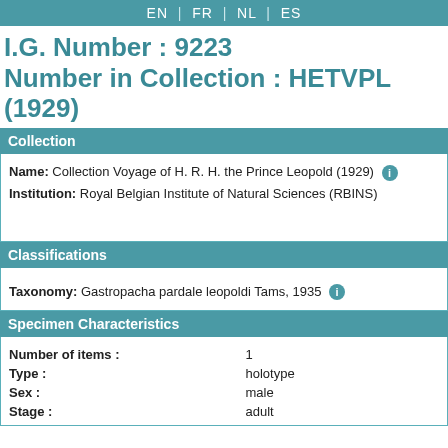EN | FR | NL | ES
I.G. Number : 9223
Number in Collection : HETVPL (1929)
Collection
Name: Collection Voyage of H. R. H. the Prince Leopold (1929)
Institution: Royal Belgian Institute of Natural Sciences (RBINS)
Classifications
Taxonomy: Gastropacha pardale leopoldi Tams, 1935
Specimen Characteristics
|  |  |
| --- | --- |
| Number of items : | 1 |
| Type : | holotype |
| Sex : | male |
| Stage : | adult |